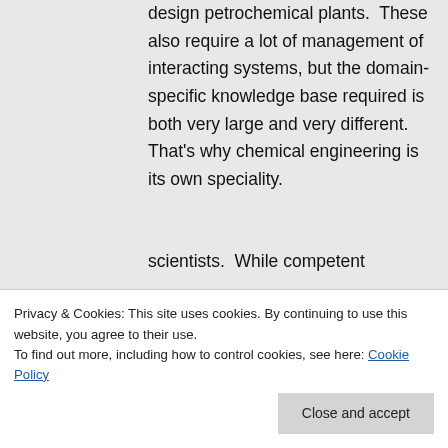design petrochemical plants. These also require a lot of management of interacting systems, but the domain-specific knowledge base required is both very large and very different. That's why chemical engineering is its own speciality.
I do not agree that engineers
scientists. While competent
Privacy & Cookies: This site uses cookies. By continuing to use this website, you agree to their use. To find out more, including how to control cookies, see here: Cookie Policy
Close and accept